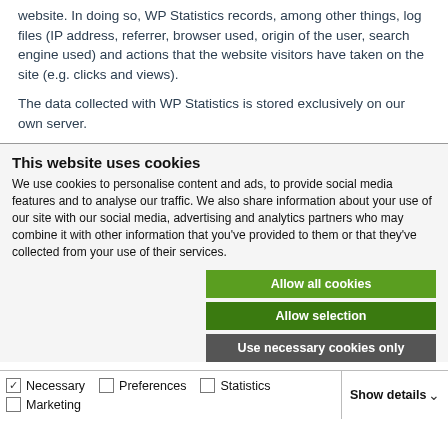website. In doing so, WP Statistics records, among other things, log files (IP address, referrer, browser used, origin of the user, search engine used) and actions that the website visitors have taken on the site (e.g. clicks and views).
The data collected with WP Statistics is stored exclusively on our own server.
This website uses cookies
We use cookies to personalise content and ads, to provide social media features and to analyse our traffic. We also share information about your use of our site with our social media, advertising and analytics partners who may combine it with other information that you've provided to them or that they've collected from your use of their services.
Allow all cookies
Allow selection
Use necessary cookies only
Necessary  Preferences  Statistics  Marketing  Show details